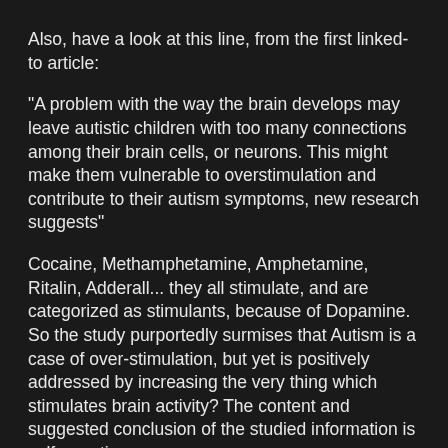Also, have a look at this line, from the first linked-to article:
"A problem with the way the brain develops may leave autistic children with too many connections among their brain cells, or neurons. This might make them vulnerable to overstimulation and contribute to their autism symptoms, new research suggests"
Cocaine, Methamphetamine, Amphetamine, Ritalin, Adderall... they all stimulate, and are categorized as stimulants, because of Dopamine. So the study purportedly surmises that Autism is a case of over-stimulation, but yet is positively addressed by increasing the very thing which stimulates brain activity? The content and suggested conclusion of the studied information is self-negating.
"As Science is founded in and conducted by False, socioathic determinations, every answer derived from the considerings of Science's test/observe methodology will be a falsehood."